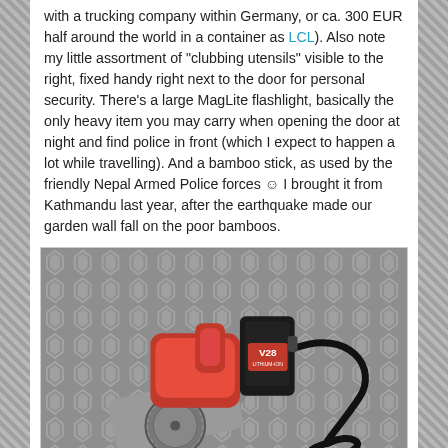with a trucking company within Germany, or ca. 300 EUR half around the world in a container as LCL). Also note my little assortment of "clubbing utensils" visible to the right, fixed handy right next to the door for personal security. There's a large MagLite flashlight, basically the only heavy item you may carry when opening the door at night and find police in front (which I expect to happen a lot while travelling). And a bamboo stick, as used by the friendly Nepal Armed Police forces ☺ I brought it from Kathmandu last year, after the earthquake made our garden wall fall on the poor bamboos.
[Figure (photo): A red cordless circular saw with a black battery pack labeled 'V28 LITHIUM-ION', placed on a metal diamond-plate surface. A black power cord is coiled nearby.]